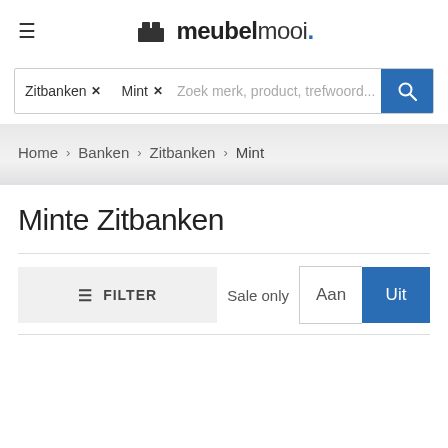meubelmooi.
Zitbanken × Mint × Zoek merk, product, trefwoord...
Home > Banken > Zitbanken > Mint
Minte Zitbanken
≡ FILTER   Sale only  Aan  Uit